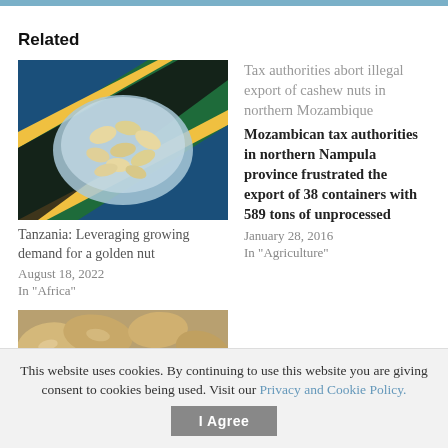Related
[Figure (photo): Cashew nuts in a bowl on a Tanzanian flag background]
Tanzania: Leveraging growing demand for a golden nut
August 18, 2022
In "Africa"
Tax authorities abort illegal export of cashew nuts in northern Mozambique
Mozambican tax authorities in northern Nampula province frustrated the export of 38 containers with 589 tons of unprocessed
January 28, 2016
In "Agriculture"
[Figure (photo): Close-up of raw cashew nuts]
This website uses cookies. By continuing to use this website you are giving consent to cookies being used. Visit our Privacy and Cookie Policy.